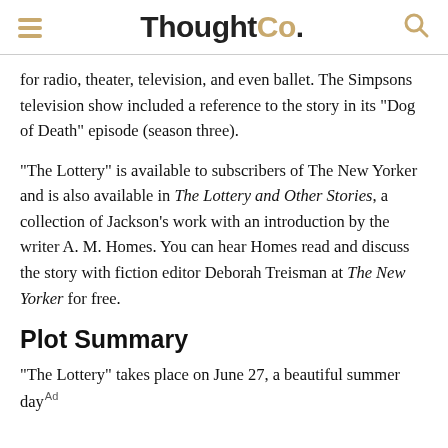ThoughtCo.
for radio, theater, television, and even ballet. The Simpsons television show included a reference to the story in its "Dog of Death" episode (season three).
"The Lottery" is available to subscribers of The New Yorker and is also available in The Lottery and Other Stories, a collection of Jackson's work with an introduction by the writer A. M. Homes. You can hear Homes read and discuss the story with fiction editor Deborah Treisman at The New Yorker for free.
Plot Summary
"The Lottery" takes place on June 27, a beautiful summer day